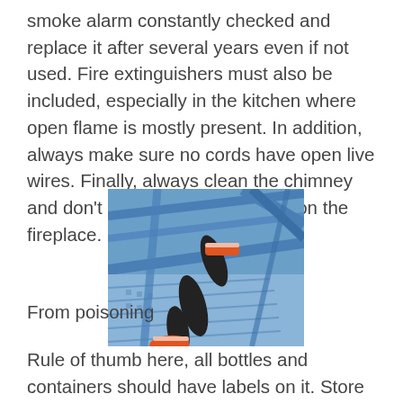smoke alarm constantly checked and replace it after several years even if not used. Fire extinguishers must also be included, especially in the kitchen where open flame is mostly present. In addition, always make sure no cords have open live wires. Finally, always clean the chimney and don’t let the amber just lying on the fireplace.
[Figure (photo): A person climbing blue metal stairs, wearing orange/red sneakers, viewed from above at an angle.]
From poisoning
Rule of thumb here, all bottles and containers should have labels on it. Store chemicals that are extremely hazardous